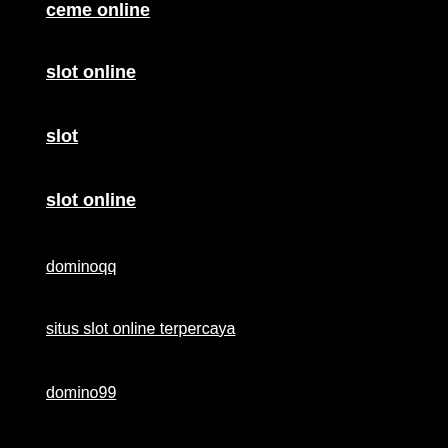ceme online
slot online
slot
slot online
dominoqq
situs slot online terpercaya
domino99